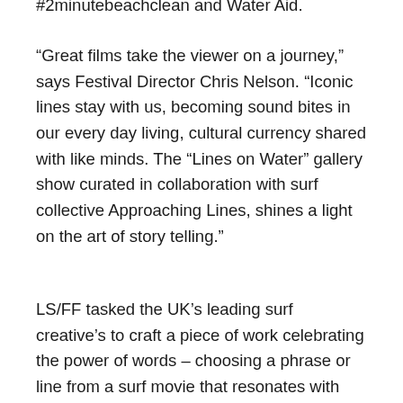#2minutebeachclean and Water Aid.
“Great films take the viewer on a journey,” says Festival Director Chris Nelson. “Iconic lines stay with us, becoming sound bites in our every day living, cultural currency shared with like minds. The “Lines on Water” gallery show curated in collaboration with surf collective Approaching Lines, shines a light on the art of story telling.”
LS/FF tasked the UK’s leading surf creative’s to craft a piece of work celebrating the power of words – choosing a phrase or line from a surf movie that resonates with them. The astonishing collection, “Lines on Water’, previewed in London during the London Surf / Film Festival features work from a hugely talented pool of UK artists with a strong